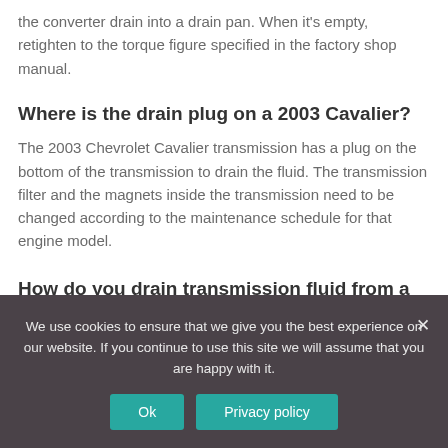the converter drain into a drain pan. When it's empty, retighten to the torque figure specified in the factory shop manual.
Where is the drain plug on a 2003 Cavalier?
The 2003 Chevrolet Cavalier transmission has a plug on the bottom of the transmission to drain the fluid. The transmission filter and the magnets inside the transmission need to be changed according to the maintenance schedule for that engine model.
How do you drain transmission fluid from a 2003 Cavalier?
We use cookies to ensure that we give you the best experience on our website. If you continue to use this site we will assume that you are happy with it.